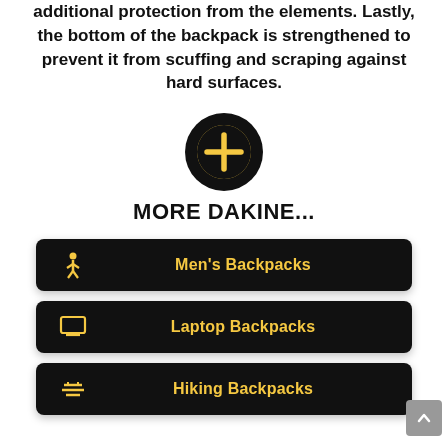additional protection from the elements. Lastly, the bottom of the backpack is strengthened to prevent it from scuffing and scraping against hard surfaces.
[Figure (illustration): Black circle with a gold/yellow plus (+) icon in the center]
MORE DAKINE...
Men's Backpacks
Laptop Backpacks
Hiking Backpacks